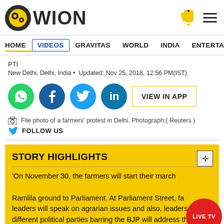[Figure (logo): WION news logo with circular icon]
HOME  VIDEOS  GRAVITAS  WORLD  INDIA  ENTERTAINMENT  SPORT
PTI
New Delhi, Delhi, India • Updated: Nov 25, 2018, 12:56 PM(IST)
[Figure (infographic): Social share buttons: WhatsApp, Facebook, Twitter, LinkedIn, VIEW IN APP button]
File photo of a farmers' protest in Delhi. Photograph:( Reuters )
FOLLOW US
STORY HIGHLIGHTS
'On November 30, the farmers will start their march Ramlila ground to Parliament. At Parliament Street, fa leaders will speak on agrarian issues and also, leaders of different political parties barring the BJP will address the